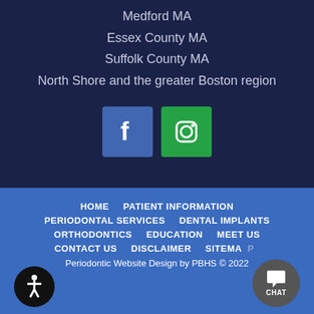Medford MA
Essex County MA
Suffolk County MA
North Shore and the greater Boston region
[Figure (logo): Facebook and Instagram social media icons]
HOME   PATIENT INFORMATION   PERIODONTAL SERVICES   DENTAL IMPLANTS   ORTHODONTICS   EDUCATION   MEET US   CONTACT US   DISCLAIMER   SITEMAP   Periodontic Website Design by PBHS © 2022